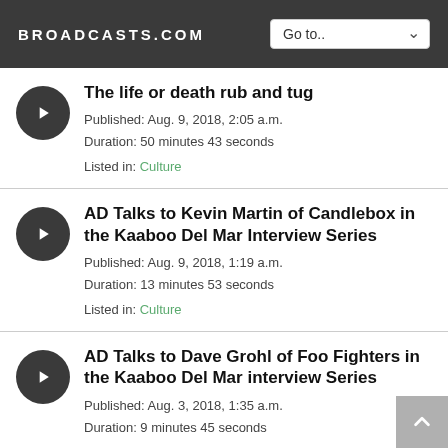BROADCASTS.COM
The life or death rub and tug
Published: Aug. 9, 2018, 2:05 a.m.
Duration: 50 minutes 43 seconds
Listed in: Culture
AD Talks to Kevin Martin of Candlebox in the Kaaboo Del Mar Interview Series
Published: Aug. 9, 2018, 1:19 a.m.
Duration: 13 minutes 53 seconds
Listed in: Culture
AD Talks to Dave Grohl of Foo Fighters in the Kaaboo Del Mar interview Series
Published: Aug. 3, 2018, 1:35 a.m.
Duration: 9 minutes 45 seconds